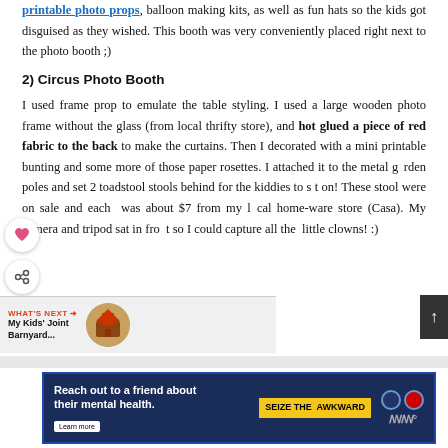printable photo props, balloon making kits, as well as fun hats so the kids got disguised as they wished. This booth was very conveniently placed right next to the photo booth ;)
2) Circus Photo Booth
I used frame prop to emulate the table styling. I used a large wooden photo frame without the glass (from local thrifty store), and hot glued a piece of red fabric to the back to make the curtains. Then I decorated with a mini printable bunting and some more of those paper rosettes. I attached it to the metal garden poles and set 2 toadstool stools behind for the kiddies to sit on! These stool were on sale and each was about $7 from my local home-ware store (Casa). My camera and tripod sat in front so I could capture all the little clowns! :)
[Figure (infographic): Advertisement banner: 'Reach out to a friend about their mental health. Learn more' with 'SEIZE THE AWKWARD' yellow label and logos]